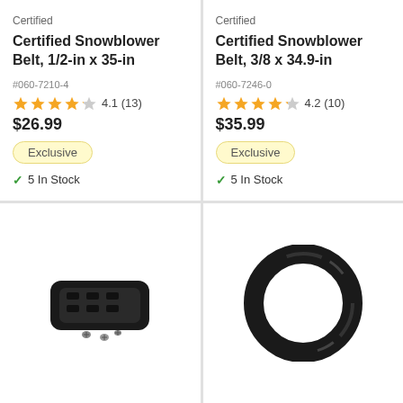Certified
Certified Snowblower Belt, 1/2-in x 35-in
#060-7210-4
4.1 (13)
$26.99
Exclusive
5 In Stock
Certified
Certified Snowblower Belt, 3/8 x 34.9-in
#060-7246-0
4.2 (10)
$35.99
Exclusive
5 In Stock
[Figure (photo): Black plastic snowblower part with holes and screws]
[Figure (photo): Black rubber tire inner tube ring]